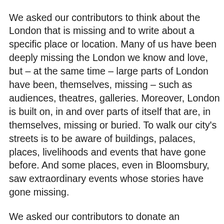We asked our contributors to think about the London that is missing and to write about a specific place or location. Many of us have been deeply missing the London we know and love, but – at the same time – large parts of London have been, themselves, missing – such as audiences, theatres, galleries. Moreover, London is built on, in and over parts of itself that are, in themselves, missing or buried. To walk our city's streets is to be aware of buildings, palaces, places, livelihoods and events that have gone before. And some places, even in Bloomsbury, saw extraordinary events whose stories have gone missing.
We asked our contributors to donate an experience of our city suburbs or centre and we collected the places and memories that presented themselves as subjects. Our lead article, on the Africa Centre, is a little longer but we asked most of our authors for just a hundred words. During Arts Weeks 2021 and for a little while after, we will be posting contributions online. At the